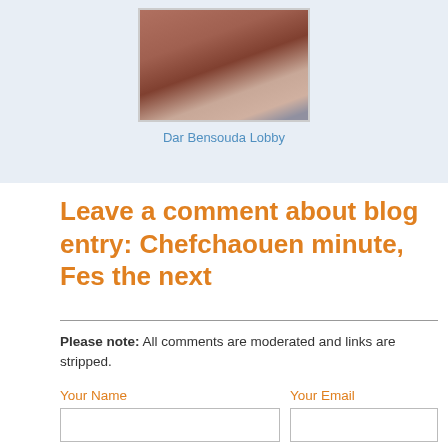[Figure (photo): Photo of Dar Bensouda Lobby showing chairs and a table in a courtyard setting]
Dar Bensouda Lobby
Leave a comment about blog entry: Chefchaouen minute, Fes the next
Please note: All comments are moderated and links are stripped.
Your Name
Your Email
Comment Title